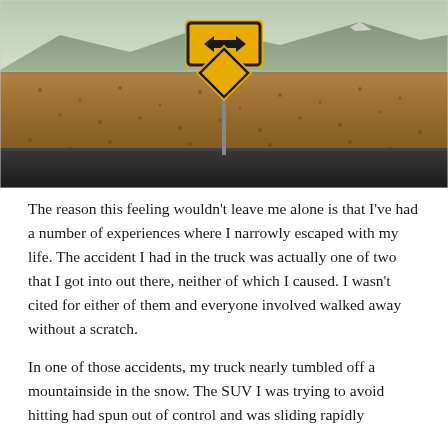[Figure (photo): Desert landscape photograph with mountains in background, arid scrubland terrain, and a road sign showing a two-way left-right arrow (black on yellow) above a yellow diamond sign, mounted on a pole in the middle of a desert road.]
The reason this feeling wouldn't leave me alone is that I've had a number of experiences where I narrowly escaped with my life. The accident I had in the truck was actually one of two that I got into out there, neither of which I caused. I wasn't cited for either of them and everyone involved walked away without a scratch.
In one of those accidents, my truck nearly tumbled off a mountainside in the snow. The SUV I was trying to avoid hitting had spun out of control and was sliding rapidly